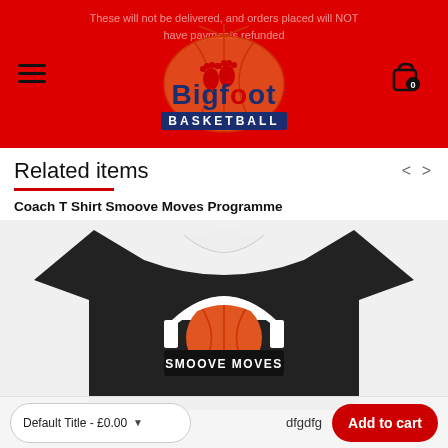These will not be delivered, and orders placed will NOT have payments refunded
[Figure (logo): Bigfoot Basketball logo — basketball graphic with big feet and 'Bigfoot BASKETBALL' text]
Related items
Coach T Shirt Smoove Moves Programme
[Figure (photo): Black Smoove Moves coach T-shirt with Bigfoot Basketball logo on front showing basketball graphic and SMOOVE MOVES text]
Default Title - £0.00
dfgdfg
Add to cart